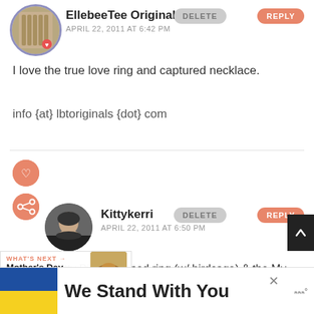[Figure (photo): Avatar image of EllebeeTee Originals commenter - circular avatar with purple border showing a wooden/textile background]
EllebeeTee Originals
APRIL 22, 2011 AT 6:42 PM
DELETE
REPLY
I love the true love ring and captured necklace.
info {at} lbtoriginals {dot} com
[Figure (photo): Heart icon in pink circle]
[Figure (photo): Share icon in pink circle]
[Figure (photo): Avatar image of Kittykerri commenter - circular avatar with dark hair photo]
Kittykerri
APRIL 22, 2011 AT 6:50 PM
DELETE
REPLY
I love the Itty Bitty Stamped ring (w/ birdcage) & the My Angle Necklace. Amy has such beautiful jewelry!
[Figure (infographic): WHAT'S NEXT -> Mother's Day Giveaway |... promotional widget with food thumbnail]
[Figure (screenshot): We Stand With You advertisement banner with Ukrainian flag colors (blue and yellow)]